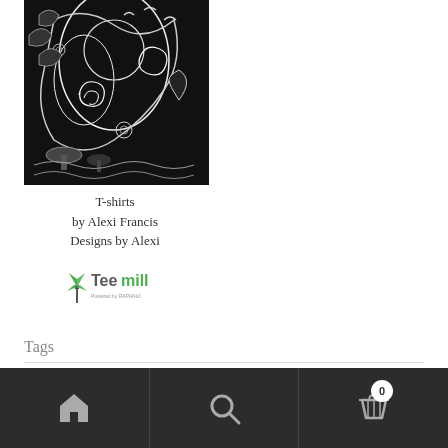[Figure (illustration): Black and white intricate illustration with nature and abstract motifs, used as a product image for T-shirts]
T-shirts
by Alexi Francis
Designs by Alexi
[Figure (logo): Teemill logo with green windmill icon and text 'Powered by RAPANUI']
Tags
altered book  Ana Mendiata  angels  art  artist  atlantis  autumn  badger  Bee  birds  blue
Home | Search | Cart (0)